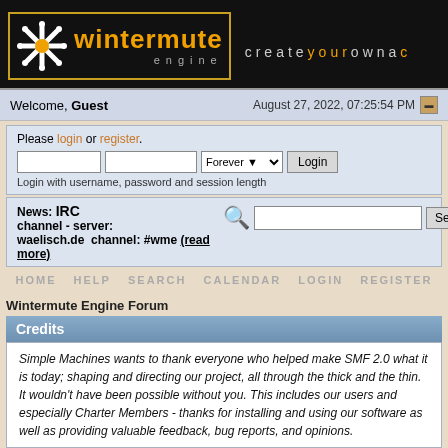[Figure (logo): Wintermute Engine logo with snowflake icon, orange text 'wintermute' and grey 'engine' with tagline 'createyourownac']
Welcome, Guest    August 27, 2022, 07:25:54 PM
Please login or register.
Login with username, password and session length
News: IRC channel - server: waelisch.de  channel: #wme (read more)
HOME  HELP  SEARCH  CALENDAR  LOGIN  REGISTER
Wintermute Engine Forum
Credits
Simple Machines wants to thank everyone who helped make SMF 2.0 what it is today; shaping and directing our project, all through the thick and the thin. It wouldn't have been possible without you. This includes our users and especially Charter Members - thanks for installing and using our software as well as providing valuable feedback, bug reports, and opinions.
The Team